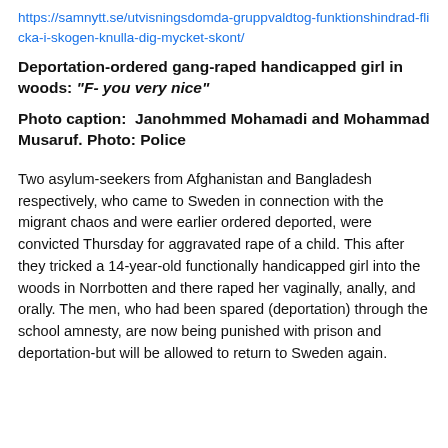https://samnytt.se/utvisningsdomda-gruppvaldtog-funktionshindrad-flicka-i-skogen-knulla-dig-mycket-skont/
Deportation-ordered gang-raped handicapped girl in woods: "F- you very nice"
Photo caption:  Janohmmed Mohamadi and Mohammad Musaruf. Photo: Police
Two asylum-seekers from Afghanistan and Bangladesh respectively, who came to Sweden in connection with the migrant chaos and were earlier ordered deported, were convicted Thursday for aggravated rape of a child. This after they tricked a 14-year-old functionally handicapped girl into the woods in Norrbotten and there raped her vaginally, anally, and orally. The men, who had been spared (deportation) through the school amnesty, are now being punished with prison and deportation-but will be allowed to return to Sweden again.